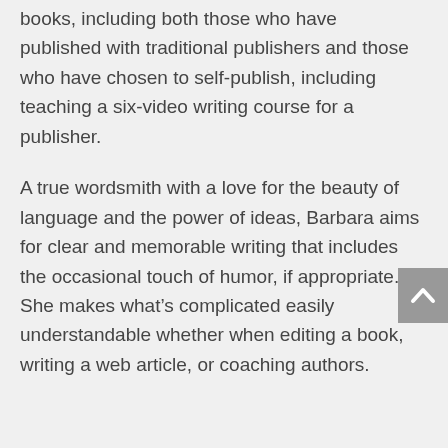books, including both those who have published with traditional publishers and those who have chosen to self-publish, including teaching a six-video writing course for a publisher.
A true wordsmith with a love for the beauty of language and the power of ideas, Barbara aims for clear and memorable writing that includes the occasional touch of humor, if appropriate. She makes what's complicated easily understandable whether when editing a book, writing a web article, or coaching authors.